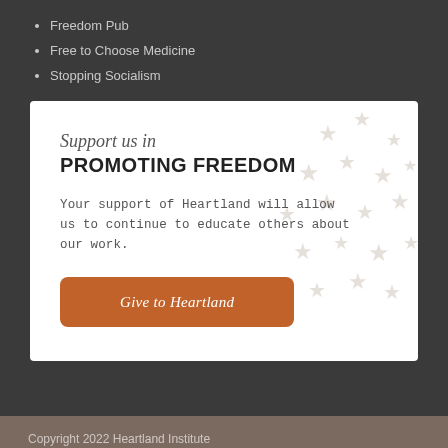Freedom Pub
Free to Choose Medicine
Stopping Socialism
Support us in PROMOTING FREEDOM
Your support of Heartland will allow us to continue to educate others about our work.
Give to Heartland
Copyright 2022 Heartland Institute